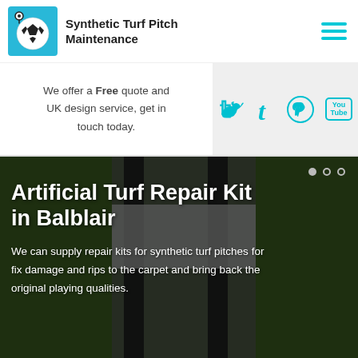[Figure (logo): Synthetic Turf Pitch Maintenance logo with football/soccer ball icon on cyan background]
Synthetic Turf Pitch Maintenance
[Figure (other): Hamburger menu icon with three cyan horizontal lines]
We offer a Free quote and UK design service, get in touch today.
[Figure (other): Social media icons: Twitter, Tumblr, Pinterest, YouTube in cyan]
Artificial Turf Repair Kit in Balblair
We can supply repair kits for synthetic turf pitches for fix damage and rips to the carpet and bring back the original playing qualities.